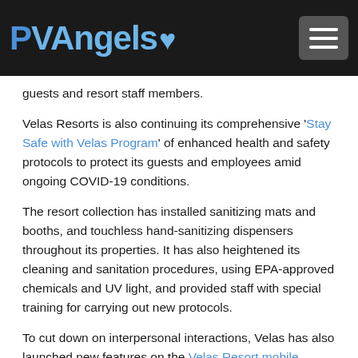PVAngels [logo with heart icon] [hamburger menu button]
…protect[ing] …p[…] guests and resort staff members.
Velas Resorts is also continuing its comprehensive 'Stay Safe with Velas Program' of enhanced health and safety protocols to protect its guests and employees amid ongoing COVID-19 conditions.
The resort collection has installed sanitizing mats and booths, and touchless hand-sanitizing dispensers throughout its properties. It has also heightened its cleaning and sanitation procedures, using EPA-approved chemicals and UV light, and provided staff with special training for carrying out new protocols.
To cut down on interpersonal interactions, Velas has also launched new features on the Velas Resort mobile…